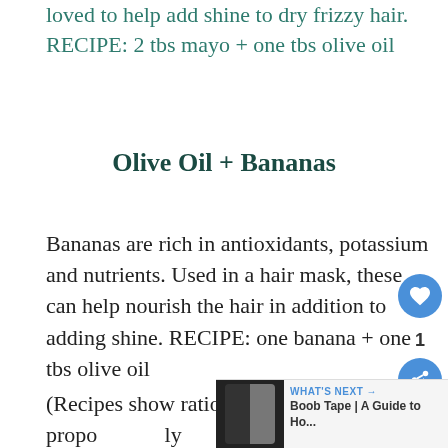loved to help add shine to dry frizzy hair. RECIPE: 2 tbs mayo + one tbs olive oil
Olive Oil + Bananas
Bananas are rich in antioxidants, potassium and nutrients. Used in a hair mask, these can help nourish the hair in addition to adding shine. RECIPE: one banana + one tbs olive oil
(Recipes show ratios: can increase proportionately based on amount of hair/scalp to treat.)